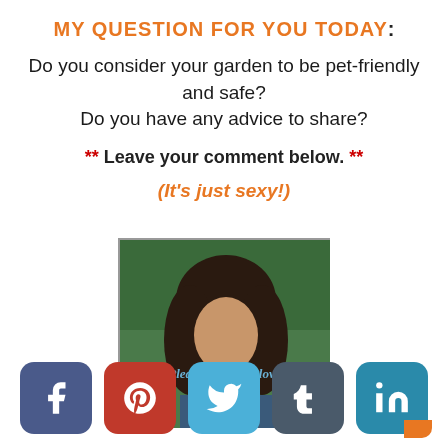MY QUESTION FOR YOU TODAY:
Do you consider your garden to be pet-friendly and safe?
Do you have any advice to share?
** Leave your comment below. **
(It's just sexy!)
[Figure (photo): Photo of a woman with long dark hair outdoors with greenery, overlaid with italic text 'Please share the love.']
[Figure (infographic): Social media sharing buttons: Facebook (blue-grey), Pinterest (red), Twitter (light blue), Tumblr (dark grey), LinkedIn (teal with orange accent)]